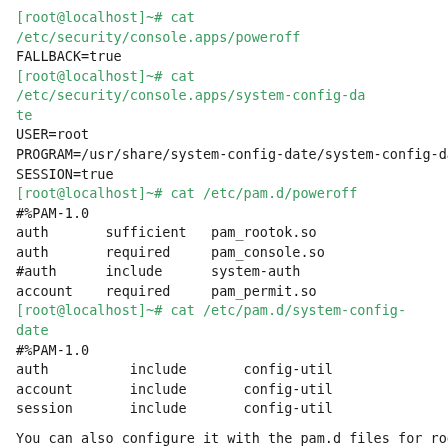[root@localhost]~# cat /etc/security/console.apps/poweroff
FALLBACK=true
[root@localhost]~# cat /etc/security/console.apps/system-config-date
USER=root
PROGRAM=/usr/share/system-config-date/system-config-date.py
SESSION=true
[root@localhost]~# cat /etc/pam.d/poweroff
#%PAM-1.0
auth       sufficient   pam_rootok.so
auth       required     pam_console.so
#auth      include      system-auth
account    required     pam_permit.so
[root@localhost]~# cat /etc/pam.d/system-config-date
#%PAM-1.0
auth          include       config-util
account       include       config-util
session       include       config-util
You can also configure it with the pam.d files for root